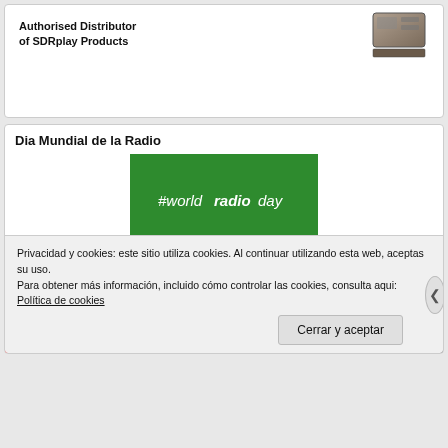Authorised Distributor of SDRplay Products
[Figure (photo): SDRplay device hardware photo (partial view)]
Dia Mundial de la Radio
[Figure (photo): World Radio Day banner with green background and #worldradioday text with white circular radio wave logo]
Privacidad y cookies: este sitio utiliza cookies. Al continuar utilizando esta web, aceptas su uso.
Para obtener más información, incluido cómo controlar las cookies, consulta aqui: Política de cookies
Cerrar y aceptar